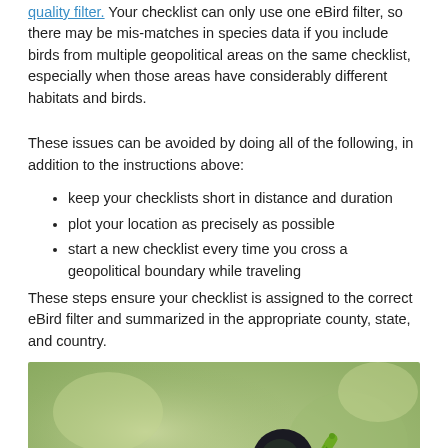quality filter. Your checklist can only use one eBird filter, so there may be mis-matches in species data if you include birds from multiple geopolitical areas on the same checklist, especially when those areas have considerably different habitats and birds.
These issues can be avoided by doing all of the following, in addition to the instructions above:
keep your checklists short in distance and duration
plot your location as precisely as possible
start a new checklist every time you cross a geopolitical boundary while traveling
These steps ensure your checklist is assigned to the correct eBird filter and summarized in the appropriate county, state, and country.
[Figure (photo): A trogon bird perched on a branch, holding a green caterpillar in its yellow beak. The bird has a dark head, green back, grey wing, and bright red belly. Background is blurred green foliage.]